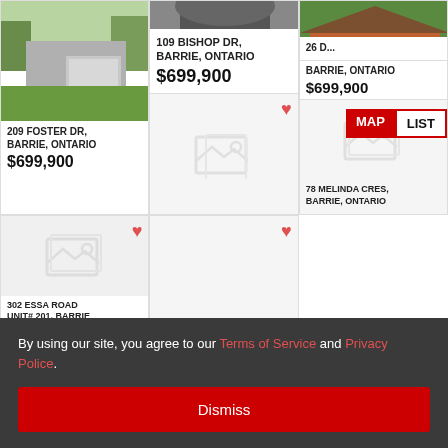[Figure (screenshot): Real estate listing grid showing properties in Barrie, Ontario with a cookie consent banner overlay]
209 FOSTER DR, BARRIE, ONTARIO
$699,900
109 BISHOP DR, BARRIE, ONTARIO
$699,900
26 D[...], BARRIE, ONTARIO
$699,900
302 ESSA ROAD UNIT# 201, BARRIE
17 MAGNOLIA LANE, BARRIE, ONTARIO
$700,000
78 MELINDA CRES, BARRIE, ONTARIO
By using our site, you agree to our Terms of Service and Privacy Police.
Dismiss